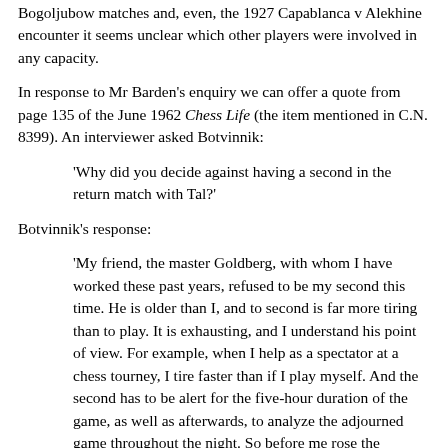Bogoljubow matches and, even, the 1927 Capablanca v Alekhine encounter it seems unclear which other players were involved in any capacity.
In response to Mr Barden's enquiry we can offer a quote from page 135 of the June 1962 Chess Life (the item mentioned in C.N. 8399). An interviewer asked Botvinnik:
‘Why did you decide against having a second in the return match with Tal?’
Botvinnik’s response:
‘My friend, the master Goldberg, with whom I have worked these past years, refused to be my second this time. He is older than I, and to second is far more tiring than to play. It is exhausting, and I understand his point of view. For example, when I help as a spectator at a chess tourney, I tire faster than if I play myself. And the second has to be alert for the five-hour duration of the game, as well as afterwards, to analyze the adjourned game throughout the night. So before me rose the question: “Should I engage a new second whom I may not have too much confidence in?” How could we successfully work together without a long friendship and mutual respect?